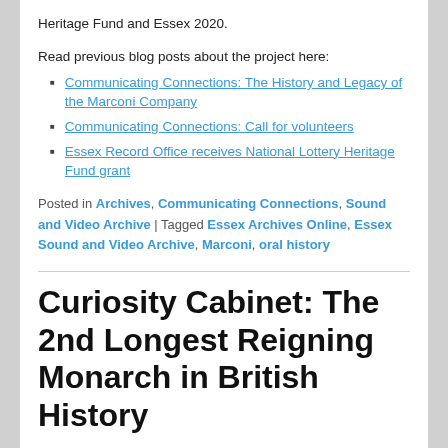Heritage Fund and Essex 2020.
Read previous blog posts about the project here:
Communicating Connections: The History and Legacy of the Marconi Company
Communicating Connections: Call for volunteers
Essex Record Office receives National Lottery Heritage Fund grant
Posted in Archives, Communicating Connections, Sound and Video Archive | Tagged Essex Archives Online, Essex Sound and Video Archive, Marconi, oral history
Curiosity Cabinet: The 2nd Longest Reigning Monarch in British History